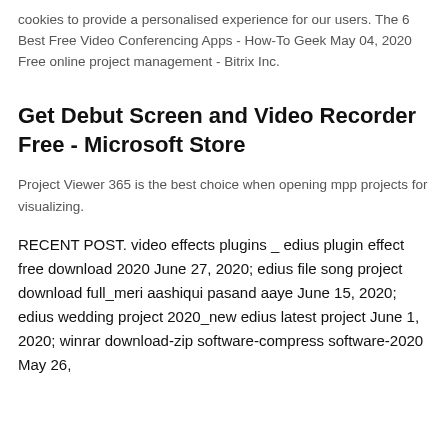cookies to provide a personalised experience for our users. The 6 Best Free Video Conferencing Apps - How-To Geek May 04, 2020 Free online project management - Bitrix Inc.
Get Debut Screen and Video Recorder Free - Microsoft Store
Project Viewer 365 is the best choice when opening mpp projects for visualizing.
RECENT POST. video effects plugins _ edius plugin effect free download 2020 June 27, 2020; edius file song project download full_meri aashiqui pasand aaye June 15, 2020; edius wedding project 2020_new edius latest project June 1, 2020; winrar download-zip software-compress software-2020 May 26,